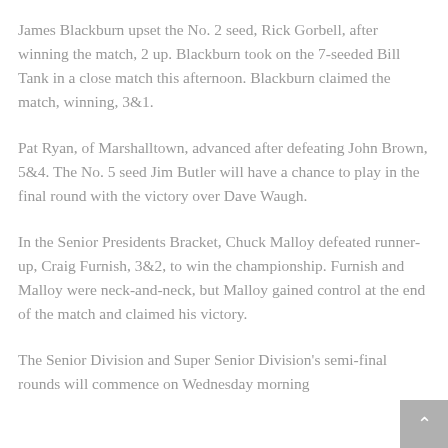James Blackburn upset the No. 2 seed, Rick Gorbell, after winning the match, 2 up. Blackburn took on the 7-seeded Bill Tank in a close match this afternoon. Blackburn claimed the match, winning, 3&1.
Pat Ryan, of Marshalltown, advanced after defeating John Brown, 5&4. The No. 5 seed Jim Butler will have a chance to play in the final round with the victory over Dave Waugh.
In the Senior Presidents Bracket, Chuck Malloy defeated runner-up, Craig Furnish, 3&2, to win the championship. Furnish and Malloy were neck-and-neck, but Malloy gained control at the end of the match and claimed his victory.
The Senior Division and Super Senior Division's semi-final rounds will commence on Wednesday morning...